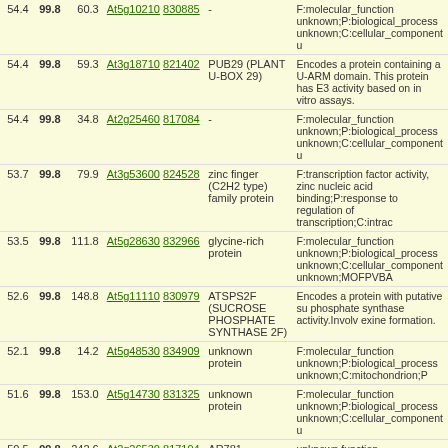| Score | Pct | Fold | Gene links | Name | Description |
| --- | --- | --- | --- | --- | --- |
| 54.4 | 99.8 | 60.3 | At5g10210 830885 | - | F:molecular_function unknown;P:biological_process unknown;C:cellular_component u |
| 54.4 | 99.8 | 59.3 | At3g18710 821402 | PUB29 (PLANT U-BOX 29) | Encodes a protein containing a U-ARM domain. This protein has E3 activity based on in vitro assays. |
| 54.4 | 99.8 | 34.8 | At2g25460 817084 | - | F:molecular_function unknown;P:biological_process unknown;C:cellular_component u |
| 53.7 | 99.8 | 79.9 | At3g53600 824528 | zinc finger (C2H2 type) family protein | F:transcription factor activity, zinc nucleic acid binding;P:response to regulation of transcription;C:intrac |
| 53.5 | 99.8 | 111.8 | At5g28630 832966 | glycine-rich protein | F:molecular_function unknown;P:biological_process unknown;C:cellular_component unknown;MOFPVBA |
| 52.6 | 99.8 | 148.8 | At5g11110 830979 | ATSPS2F (SUCROSE PHOSPHATE SYNTHASE 2F) | Encodes a protein with putative su phosphate synthase activity.Involves exine formation. |
| 52.1 | 99.8 | 14.2 | At5g48530 834909 | unknown protein | F:molecular_function unknown;P:biological_process unknown;C:mitochondrion;P |
| 51.6 | 99.8 | 153.0 | At5g14730 831325 | unknown protein | F:molecular_function unknown;P:biological_process unknown;C:cellular_component u |
| 50.5 | 99.8 | 242.6 | At2g26530 817194 | AR781 | unknown function |
| 49.4 | 99.8 | 45.7 | At5g28610 832960 | - | F:molecular_function unknown;P:biological_process unknown;C:cellular_component unknown;MOFPVB |
| 49.2 | 99.8 | 44.8 | At3g57540 824921 | remorin family protein | F:DNA binding;P:biological_proce unknown;C:cellular_component u |
| 48.8 | 99.8 | 151.0 | At1g68620 843192 | hydrolase | F:hydrolase activity;P:metabolic process;C:cellular_component unknown;BOMFPAV |